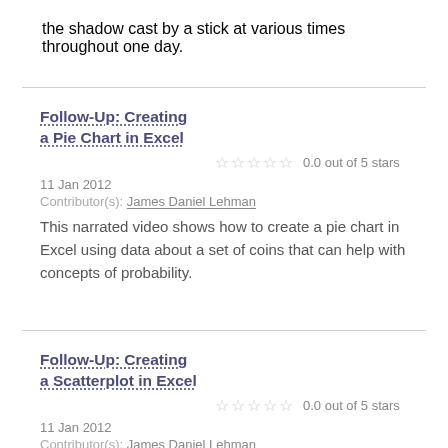the shadow cast by a stick at various times throughout one day.
Follow-Up: Creating a Pie Chart in Excel
0.0 out of 5 stars
11 Jan 2012
Contributor(s): James Daniel Lehman
This narrated video shows how to create a pie chart in Excel using data about a set of coins that can help with concepts of probability.
Follow-Up: Creating a Scatterplot in Excel
0.0 out of 5 stars
11 Jan 2012
Contributor(s): James Daniel Lehman
This narrated video shows how to create a